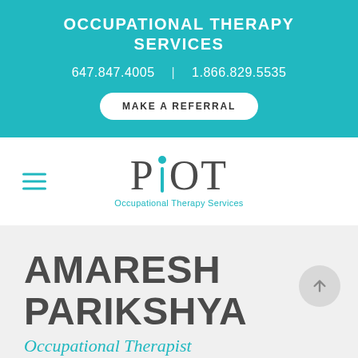OCCUPATIONAL THERAPY SERVICES
647.847.4005  |  1.866.829.5535
MAKE A REFERRAL
[Figure (logo): PiOT Occupational Therapy Services logo with teal accent on the letter i]
AMARESH PARIKSHYA
Occupational Therapist